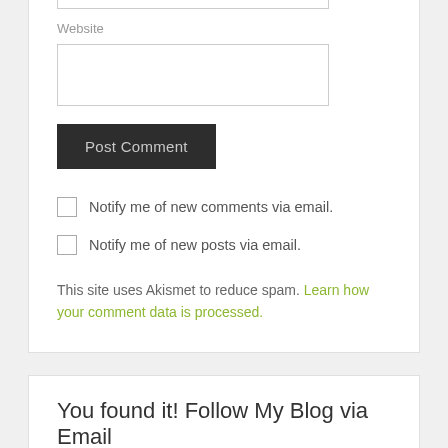Website
Post Comment
Notify me of new comments via email.
Notify me of new posts via email.
This site uses Akismet to reduce spam. Learn how your comment data is processed.
You found it! Follow My Blog via Email